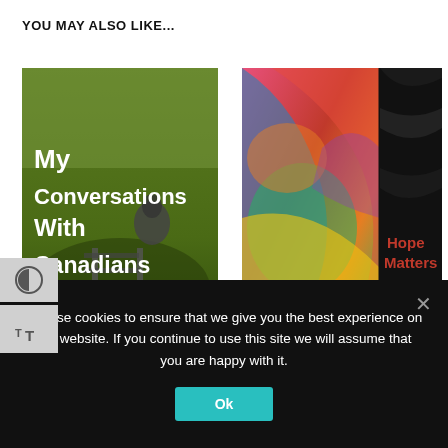YOU MAY ALSO LIKE...
[Figure (photo): Book cover: 'My Conversations With Canadians' by Lee Maracle. Cover shows a person sitting on grass near railroad tracks, viewed from above. White bold text on the image.]
[Figure (photo): Book cover: 'Hope Matters' by Lee Mamcie, Columpa Bobb, Tania Carter. Cover shows a colorful abstract painting with black panel on right containing orange title text and author names.]
We use cookies to ensure that we give you the best experience on our website. If you continue to use this site we will assume that you are happy with it.